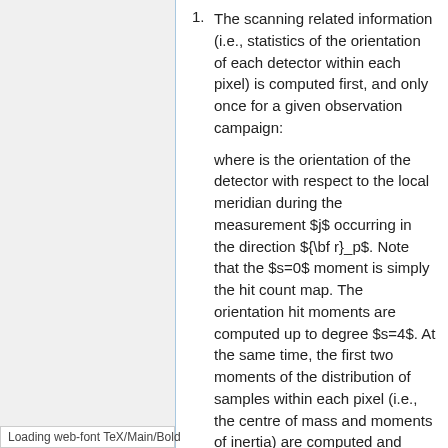The scanning related information (i.e., statistics of the orientation of each detector within each pixel) is computed first, and only once for a given observation campaign: where is the orientation of the detector with respect to the local meridian during the measurement $j$ occurring in the direction ${\bf r}_p$. Note that the $s=0$ moment is simply the hit count map. The orientation hit moments are computed up to degree $s=4$. At the same time, the first two moments of the distribution of samples within each pixel (i.e., the centre of mass and moments of inertia) are computed and stored on disc.
Loading web-font TeX/Main/Bold